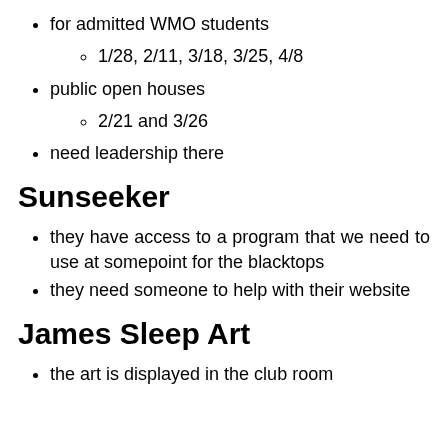for admitted WMO students
1/28, 2/11, 3/18, 3/25, 4/8
public open houses
2/21 and 3/26
need leadership there
Sunseeker
they have access to a program that we need to use at somepoint for the blacktops
they need someone to help with their website
James Sleep Art
the art is displayed in the club room